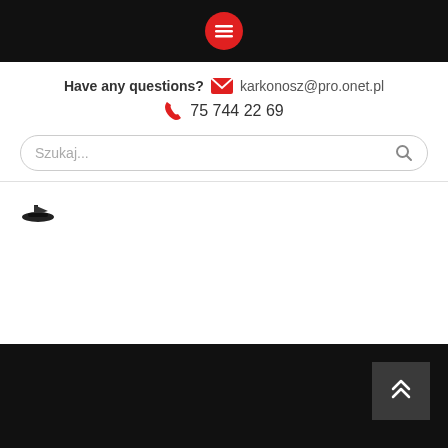[Figure (logo): Red circle with white hamburger menu icon on black top bar]
Have any questions? karkonosz@pro.onet.pl
75 744 22 69
Szukaj...
[Figure (logo): Small ship/boat logo partially visible]
[Figure (other): Scroll-to-top button with double chevron up arrow on dark grey background]
Ship Order Star